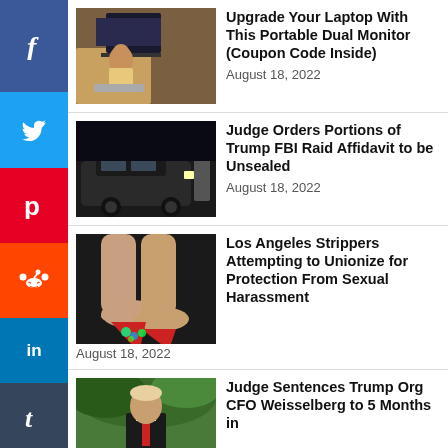[Figure (photo): Person sitting at desk with multiple monitors]
Upgrade Your Laptop With This Portable Dual Monitor (Coupon Code Inside)
August 18, 2022
[Figure (photo): Black SUV with person standing beside it in dark setting]
Judge Orders Portions of Trump FBI Raid Affidavit to be Unsealed
August 18, 2022
[Figure (photo): Feet wearing high heel shoes with decorative lights]
Los Angeles Strippers Attempting to Unionize for Protection From Sexual Harassment
August 18, 2022
[Figure (photo): Partial photo of person in suit outdoors]
Judge Sentences Trump Org CFO Weisselberg to 5 Months in
[Figure (infographic): Social media share buttons sidebar: Facebook, Twitter, Pinterest, Reddit, LinkedIn, Tumblr]